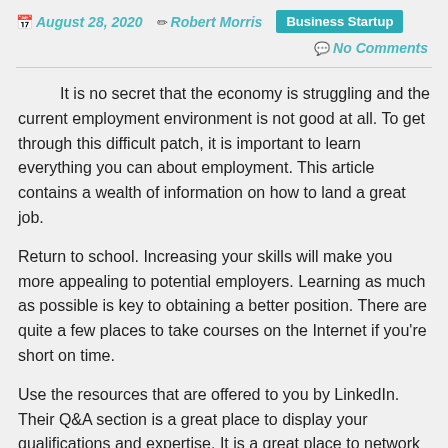August 28, 2020 | Robert Morris | Business Startup | No Comments
It is no secret that the economy is struggling and the current employment environment is not good at all. To get through this difficult patch, it is important to learn everything you can about employment. This article contains a wealth of information on how to land a great job.
Return to school. Increasing your skills will make you more appealing to potential employers. Learning as much as possible is key to obtaining a better position. There are quite a few places to take courses on the Internet if you're short on time.
Use the resources that are offered to you by LinkedIn. Their Q&A section is a great place to display your qualifications and expertise. It is a great place to network with other job seekers as well as potential employers.